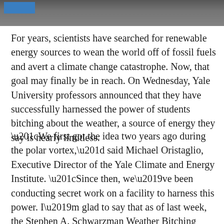[Figure (photo): Dark textured background header image with a blue rectangular block in the upper left corner]
For years, scientists have searched for renewable energy sources to wean the world off of fossil fuels and avert a climate change catastrophe. Now, that goal may finally be in reach. On Wednesday, Yale University professors announced that they have successfully harnessed the power of students bitching about the weather, a source of energy they say is nearly limitless.
“We first got the idea two years ago during the polar vortex,” said Michael Oristaglio, Executive Director of the Yale Climate and Energy Institute. “Since then, we’ve been conducting secret work on a facility to harness this power. I’m glad to say that as of last week, the Stephen A. Schwarzman Weather Bitching Energy